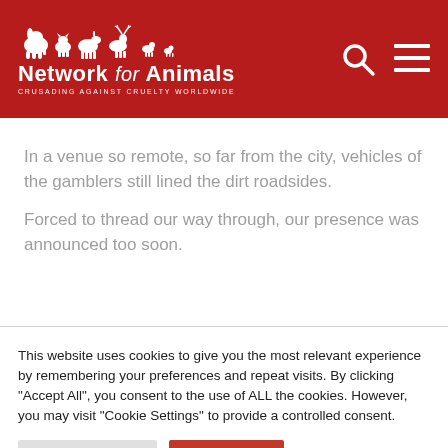Network for Animals — CRUSADING AGAINST CRUELTY WORLDWIDE
In a venue so remote, so far from the city, vehicles of the gamblers still lined the dirt roadsides.
Forced to thread our way through, our presence was announced too soon.
This website uses cookies to give you the most relevant experience by remembering your preferences and repeat visits. By clicking "Accept All", you consent to the use of ALL the cookies. However, you may visit "Cookie Settings" to provide a controlled consent.